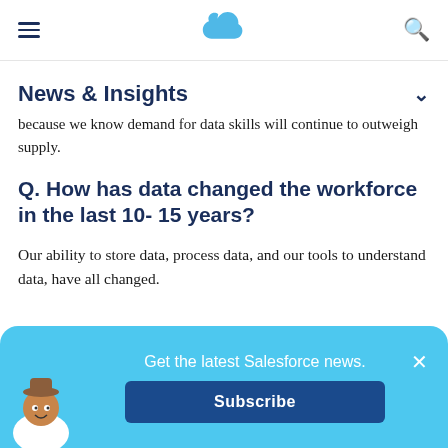Salesforce navigation bar with hamburger menu, cloud logo, and search icon
News & Insights
because we know demand for data skills will continue to outweigh supply.
Q. How has data changed the workforce in the last 10- 15 years?
Our ability to store data, process data, and our tools to understand data, have all changed.
Get the latest Salesforce news.
Subscribe